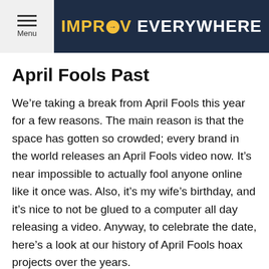Menu | IMPROV EVERYWHERE
April Fools Past
We're taking a break from April Fools this year for a few reasons. The main reason is that the space has gotten so crowded; every brand in the world releases an April Fools video now. It's near impossible to actually fool anyone online like it once was. Also, it's my wife's birthday, and it's nice to not be glued to a computer all day releasing a video. Anyway, to celebrate the date, here's a look at our history of April Fools hoax projects over the years.
Spider-Man In Real Life (2014)